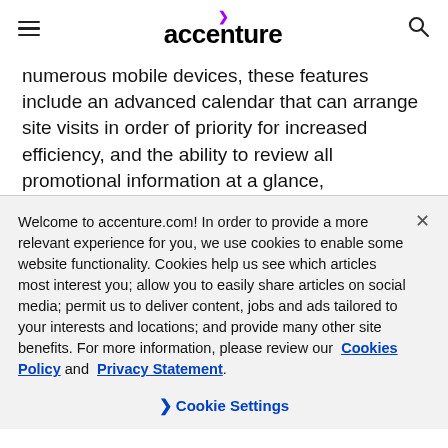accenture
numerous mobile devices, these features include an advanced calendar that can arrange site visits in order of priority for increased efficiency, and the ability to review all promotional information at a glance,
Welcome to accenture.com! In order to provide a more relevant experience for you, we use cookies to enable some website functionality. Cookies help us see which articles most interest you; allow you to easily share articles on social media; permit us to deliver content, jobs and ads tailored to your interests and locations; and provide many other site benefits. For more information, please review our Cookies Policy and Privacy Statement.
Cookie Settings